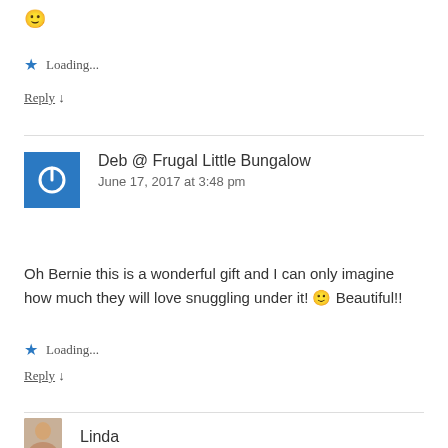🙂
⭐ Loading...
Reply ↓
[Figure (illustration): Blue square avatar with white power/on button icon for user Deb @ Frugal Little Bungalow]
Deb @ Frugal Little Bungalow
June 17, 2017 at 3:48 pm
Oh Bernie this is a wonderful gift and I can only imagine how much they will love snuggling under it! 🙂 Beautiful!!
⭐ Loading...
Reply ↓
[Figure (photo): Small profile photo of user Linda]
Linda